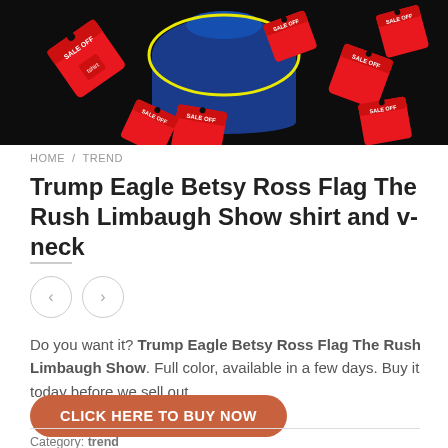[Figure (photo): Product promotional image showing a blue t-shirt on a dark background with red 'SALE OFF' price tags scattered around it, yellow outline highlight on the shirt]
HOME / TREND
Trump Eagle Betsy Ross Flag The Rush Limbaugh Show shirt and v-neck
Do you want it? Trump Eagle Betsy Ross Flag The Rush Limbaugh Show. Full color, available in a few days. Buy it today before we sell out.
CLICK HERE TO BUY NOW
Category: trend